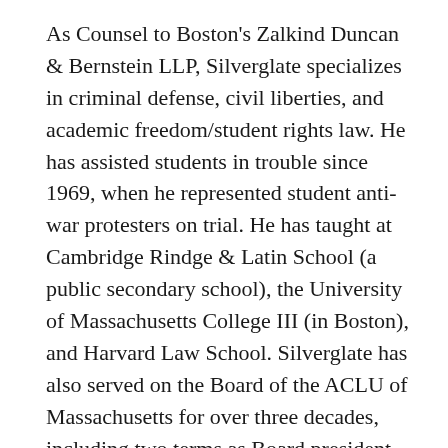As Counsel to Boston's Zalkind Duncan & Bernstein LLP, Silverglate specializes in criminal defense, civil liberties, and academic freedom/student rights law. He has assisted students in trouble since 1969, when he represented student anti-war protesters on trial. He has taught at Cambridge Rindge & Latin School (a public secondary school), the University of Massachusetts College III (in Boston), and Harvard Law School. Silverglate has also served on the Board of the ACLU of Massachusetts for over three decades, including two terms as Board president. He is a long-time affiliate of Harvard College's Dunster House, where he conducts student “law tables.”
A criminal law and civil-liberties columnist for